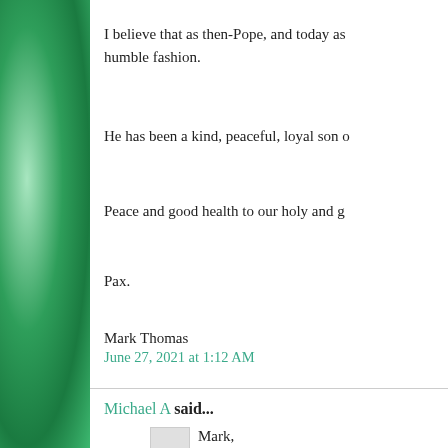I believe that as then-Pope, and today as humble fashion.
He has been a kind, peaceful, loyal son o
Peace and good health to our holy and g
Pax.
Mark Thomas
June 27, 2021 at 1:12 AM
Michael A said...
Mark,